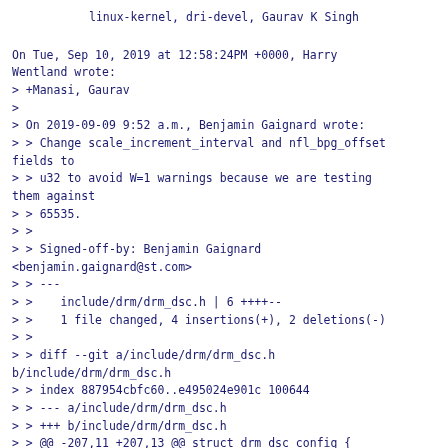linux-kernel, dri-devel, Gaurav K Singh
On Tue, Sep 10, 2019 at 12:58:24PM +0000, Harry Wentland wrote:
> +Manasi, Gaurav
>
> On 2019-09-09 9:52 a.m., Benjamin Gaignard wrote:
> > Change scale_increment_interval and nfl_bpg_offset fields to
> > u32 to avoid W=1 warnings because we are testing them against
> > 65535.
> >
> > Signed-off-by: Benjamin Gaignard <benjamin.gaignard@st.com>
> > ---
> >    include/drm/drm_dsc.h | 6 ++++--
> >    1 file changed, 4 insertions(+), 2 deletions(-)
> >
> > diff --git a/include/drm/drm_dsc.h b/include/drm/drm_dsc.h
> > index 887954cbfc60..e495024e901c 100644
> > --- a/include/drm/drm_dsc.h
> > +++ b/include/drm/drm_dsc.h
> > @@ -207,11 +207,13 @@ struct drm_dsc_config {
> >          * Number of group times between incrementing the scale factor value
> >          * used at the beginning of a slice.
> >          */
> > -    u16 scale_increment_interval;